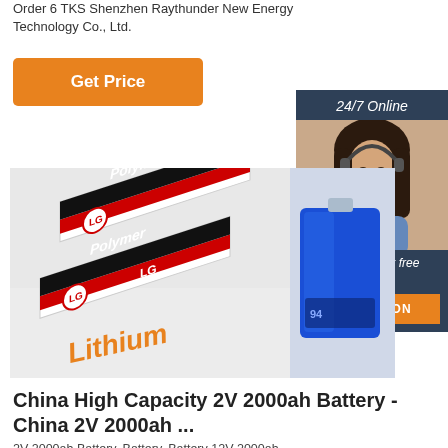Order 6 TKS Shenzhen Raythunder New Energy Technology Co., Ltd.
[Figure (other): Orange 'Get Price' button]
[Figure (other): 24/7 Online chat widget with woman wearing headset, 'Click here for free chat!' text, and orange QUOTATION button]
[Figure (photo): LG Polymer Lithium battery cells stacked with black and red labels on left; blue Samsung battery pack on right]
China High Capacity 2V 2000ah Battery - China 2V 2000ah ...
2V 2000ah Battery, Battery, Battery 12V 2000ah